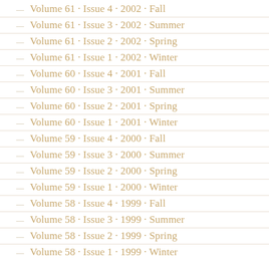Volume 61 · Issue 4 · 2002 · Fall
Volume 61 · Issue 3 · 2002 · Summer
Volume 61 · Issue 2 · 2002 · Spring
Volume 61 · Issue 1 · 2002 · Winter
Volume 60 · Issue 4 · 2001 · Fall
Volume 60 · Issue 3 · 2001 · Summer
Volume 60 · Issue 2 · 2001 · Spring
Volume 60 · Issue 1 · 2001 · Winter
Volume 59 · Issue 4 · 2000 · Fall
Volume 59 · Issue 3 · 2000 · Summer
Volume 59 · Issue 2 · 2000 · Spring
Volume 59 · Issue 1 · 2000 · Winter
Volume 58 · Issue 4 · 1999 · Fall
Volume 58 · Issue 3 · 1999 · Summer
Volume 58 · Issue 2 · 1999 · Spring
Volume 58 · Issue 1 · 1999 · Winter